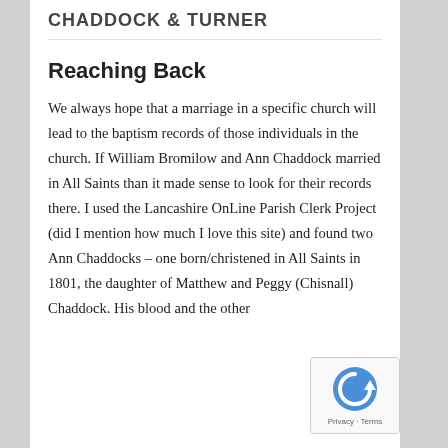CHADDOCK & TURNER
Reaching Back
We always hope that a marriage in a specific church will lead to the baptism records of those individuals in the church. If William Bromilow and Ann Chaddock married in All Saints than it made sense to look for their records there. I used the Lancashire OnLine Parish Clerk Project (did I mention how much I love this site) and found two Ann Chaddocks – one born/christened in All Saints in 1801, the daughter of Matthew and Peggy (Chisnall) Chaddock. His blood and the other